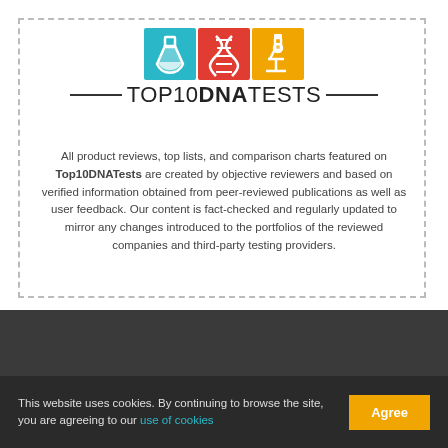[Figure (logo): Top10DNATests logo with three colored squares (teal flask, red DNA double helix, orange microscope) above the wordmark TOP10DNATESTS with horizontal lines flanking the text]
All product reviews, top lists, and comparison charts featured on Top10DNATests are created by objective reviewers and based on verified information obtained from peer-reviewed publications as well as user feedback. Our content is fact-checked and regularly updated to mirror any changes introduced to the portfolios of the reviewed companies and third-party testing providers.
This website uses cookies. By continuing to browse the site, you are agreeing to our use of cookies